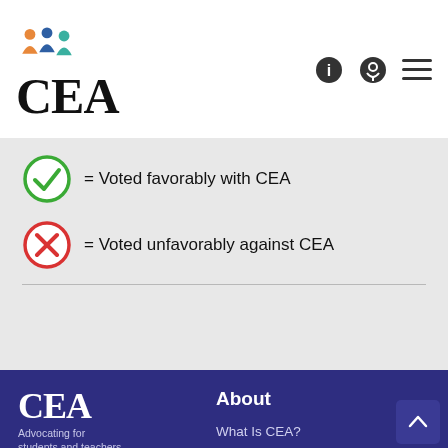CEA - Connecticut Education Association
= Voted favorably with CEA
= Voted unfavorably against CEA
[Figure (logo): CEA logo with colorful figure icon above CEA text]
Advocating for students and teachers
Capitol Place
Suite 500
21 Oak Street
Hartford, CT
About
What Is CEA?
Commissions & Committees
Connecticut Education Foundation